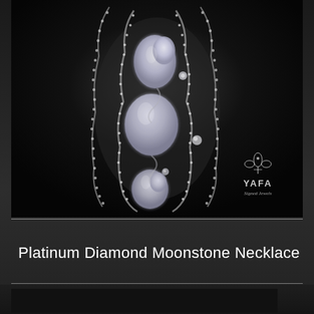[Figure (photo): Product photo of a Platinum Diamond Moonstone Necklace on dark background. The necklace features a sinuous diamond-paved platinum design with three large moonstone clusters arranged vertically, surrounded by pavé-set diamonds forming a flowing organic shape. A YAFA Signed Jewels logo appears in the lower right corner of the image.]
Platinum Diamond Moonstone Necklace